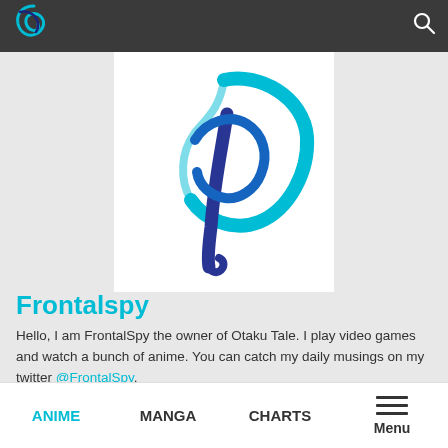Frontalspy website header with logo and search icon
[Figure (logo): Frontalspy swirl logo in blue tones on white background, centered in the profile section]
Frontalspy
Hello, I am FrontalSpy the owner of Otaku Tale. I play video games and watch a bunch of anime. You can catch my daily musings on my twitter @FrontalSpy.
ANIME   MANGA   CHARTS   Menu